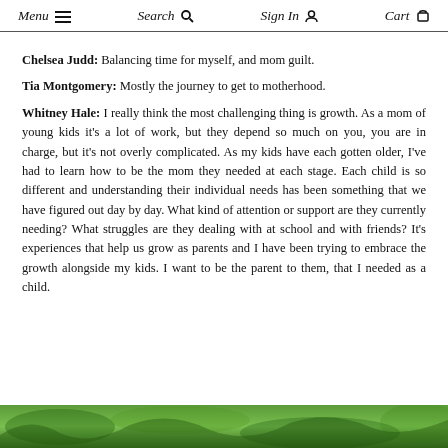Menu  Search  Sign In  Cart
Chelsea Judd: Balancing time for myself, and mom guilt.
Tia Montgomery: Mostly the journey to get to motherhood.
Whitney Hale: I really think the most challenging thing is growth. As a mom of young kids it's a lot of work, but they depend so much on you, you are in charge, but it's not overly complicated. As my kids have each gotten older, I've had to learn how to be the mom they needed at each stage. Each child is so different and understanding their individual needs has been something that we have figured out day by day. What kind of attention or support are they currently needing? What struggles are they dealing with at school and with friends? It's experiences that help us grow as parents and I have been trying to embrace the growth alongside my kids. I want to be the parent to them, that I needed as a child.
[Figure (photo): Bottom portion of a nature/plant photo showing green foliage]